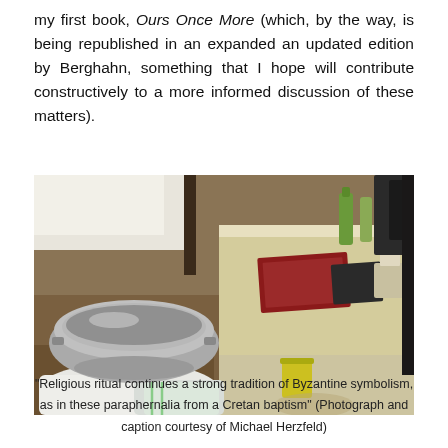my first book, Ours Once More (which, by the way, is being republished in an expanded an updated edition by Berghahn, something that I hope will contribute constructively to a more informed discussion of these matters).
[Figure (photo): Photograph of baptism paraphernalia including a large metal basin, white cloth bags, a table covered with cream cloth, a red book, an olive oil bottle, and a yellow cup, set outdoors on dirt ground.]
"Religious ritual continues a strong tradition of Byzantine symbolism, as in these paraphernalia from a Cretan baptism" (Photograph and caption courtesy of Michael Herzfeld)